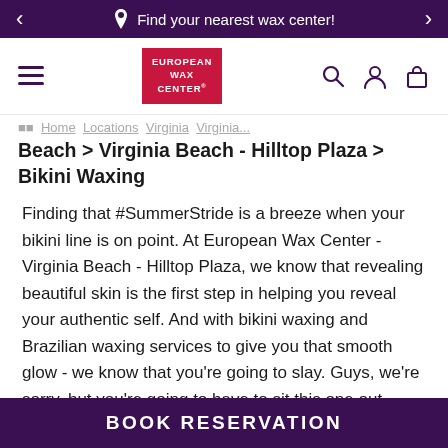Find your nearest wax center!
[Figure (logo): European Wax Center logo — red rectangle with white text EUROPEAN WAX CENTER]
Beach > Virginia Beach - Hilltop Plaza > Bikini Waxing
Finding that #SummerStride is a breeze when your bikini line is on point. At European Wax Center - Virginia Beach - Hilltop Plaza, we know that revealing beautiful skin is the first step in helping you reveal your authentic self. And with bikini waxing and Brazilian waxing services to give you that smooth glow - we know that you're going to slay. Guys, we're sorry, but you're going to have to sit this one out. Girls, you deserve to steal the show without a second thought, and when you feel gorgeous, what
BOOK RESERVATION